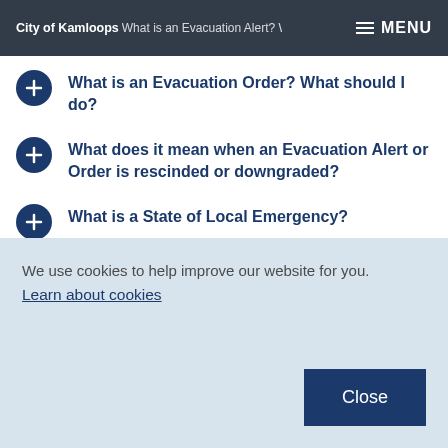City of Kamloops | What is an Evacuation Alert? What should I do? | MENU
What is an Evacuation Order? What should I do?
What does it mean when an Evacuation Alert or Order is rescinded or downgraded?
What is a State of Local Emergency?
What does it mean to Shelter in Place?
What emergency preparation can be done for
We use cookies to help improve our website for you. Learn about cookies
Close